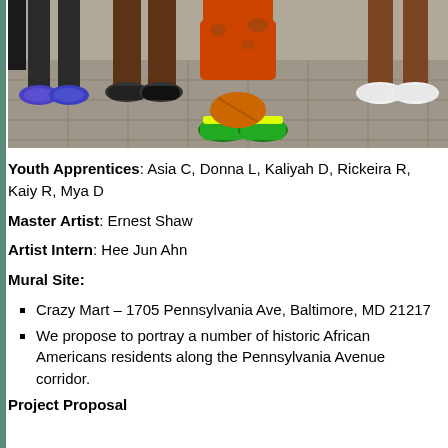[Figure (photo): Group photo showing lower bodies and feet of youth sitting on stone pavement, wearing colorful sneakers. One person wears an orange patterned dress/skirt.]
Youth Apprentices: Asia C, Donna L, Kaliyah D, Rickeira R, Kaiy R, Mya D
Master Artist: Ernest Shaw
Artist Intern: Hee Jun Ahn
Mural Site:
Crazy Mart – 1705 Pennsylvania Ave, Baltimore, MD 21217
We propose to portray a number of historic African Americans residents along the Pennsylvania Avenue corridor.
Project Proposal